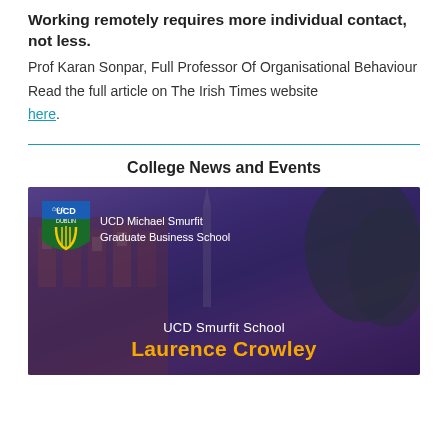Working remotely requires more individual contact, not less.
Prof Karan Sonpar, Full Professor Of Organisational Behaviour
Read the full article on The Irish Times website here.
College News and Events
[Figure (photo): UCD Michael Smurfit Graduate Business School promotional banner image showing the college building at dusk/night with purple overlay, UCD shield logo, and text reading 'UCD Smurfit School Laurence Crowley']